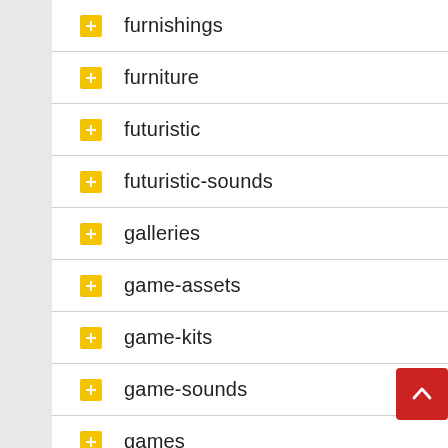furnishings
furniture
futuristic
futuristic-sounds
galleries
game-assets
game-kits
game-sounds
games
gateways
gatsby-js